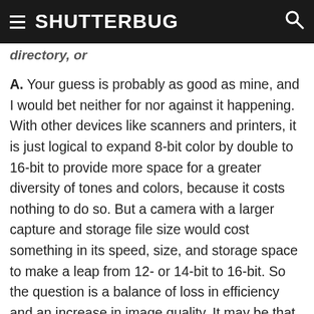SHUTTERBUG
directory, or
A. Your guess is probably as good as mine, and I would bet neither for nor against it happening. With other devices like scanners and printers, it is just logical to expand 8-bit color by double to 16-bit to provide more space for a greater diversity of tones and colors, because it costs nothing to do so. But a camera with a larger capture and storage file size would cost something in its speed, size, and storage space to make a leap from 12- or 14-bit to 16-bit. So the question is a balance of loss in efficiency and an increase in image quality. It may be that little more can be gained if it cannot be seen, and how it detracts from the efficiency of the device and the